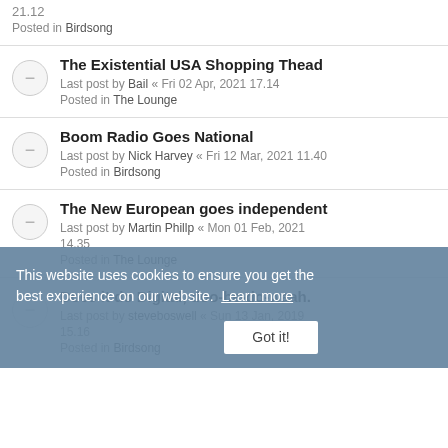21.12
Posted in Birdsong
The Existential USA Shopping Thead
Last post by Bail « Fri 02 Apr, 2021 17.14
Posted in The Lounge
Boom Radio Goes National
Last post by Nick Harvey « Fri 12 Mar, 2021 11.40
Posted in Birdsong
The New European goes independent
Last post by Martin Phillp « Mon 01 Feb, 2021 14.35
Posted in The Lounge
Does it do Digital, doo-be-do-waah.
Last post by steveboswell « Sun 13 Jan, 2019 15.16
Posted in Birdsong
This website uses cookies to ensure you get the best experience on our website.  Learn more
Got it!